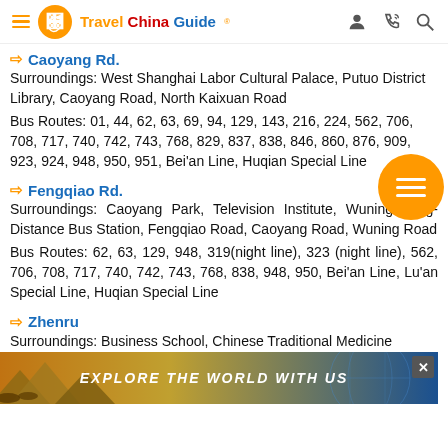Travel China Guide
→ Caoyang Rd.
Surroundings: West Shanghai Labor Cultural Palace, Putuo District Library, Caoyang Road, North Kaixuan Road
Bus Routes: 01, 44, 62, 63, 69, 94, 129, 143, 216, 224, 562, 706, 708, 717, 740, 742, 743, 768, 829, 837, 838, 846, 860, 876, 909, 923, 924, 948, 950, 951, Bei'an Line, Huqian Special Line
→ Fengqiao Rd.
Surroundings: Caoyang Park, Television Institute, Wuning Long-Distance Bus Station, Fengqiao Road, Caoyang Road, Wuning Road
Bus Routes: 62, 63, 129, 948, 319(night line), 323 (night line), 562, 706, 708, 717, 740, 742, 743, 768, 838, 948, 950, Bei'an Line, Lu'an Special Line, Huqian Special Line
→ Zhenru
Surroundings: Business School, Chinese Traditional Medicine
[Figure (infographic): Explore the World With Us banner with pyramids background]
[Figure (logo): Travel China Guide logo with orange dragon circle]